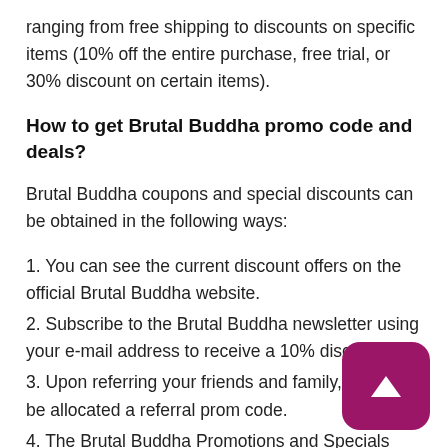ranging from free shipping to discounts on specific items (10% off the entire purchase, free trial, or 30% discount on certain items).
How to get Brutal Buddha promo code and deals?
Brutal Buddha coupons and special discounts can be obtained in the following ways:
1. You can see the current discount offers on the official Brutal Buddha website.
2. Subscribe to the Brutal Buddha newsletter using your e-mail address to receive a 10% discount.
3. Upon referring your friends and family, you will be allocated a referral prom code.
4. The Brutal Buddha Promotions and Specials page